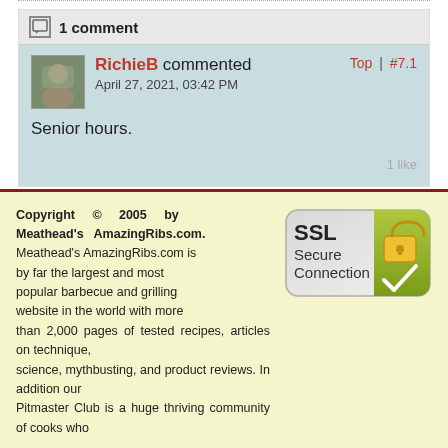1 comment
RichieB commented April 27, 2021, 03:42 PM Top | #7.1
Senior hours.
1 like
Top
Copyright © 2005 by Meathead's AmazingRibs.com. Meathead's AmazingRibs.com is by far the largest and most popular barbecue and grilling website in the world with more than 2,000 pages of tested recipes, articles on technique, science, mythbusting, and product reviews. In addition our Pitmaster Club is a huge thriving community of cooks who
[Figure (logo): SSL Secure Connection badge with padlock icon]